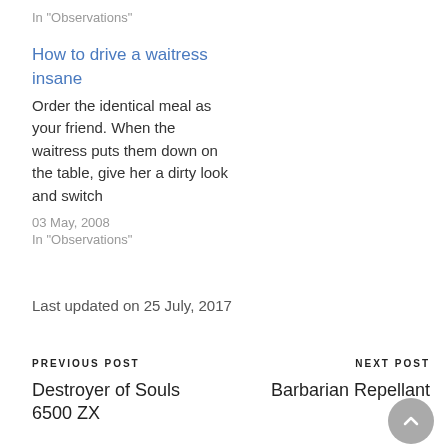In "Observations"
How to drive a waitress insane
Order the identical meal as your friend. When the waitress puts them down on the table, give her a dirty look and switch
03 May, 2008
In "Observations"
Last updated on 25 July, 2017
PREVIOUS POST
Destroyer of Souls 6500 ZX
NEXT POST
Barbarian Repellant